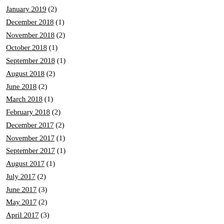January 2019 (2)
December 2018 (1)
November 2018 (2)
October 2018 (1)
September 2018 (1)
August 2018 (2)
June 2018 (2)
March 2018 (1)
February 2018 (2)
December 2017 (2)
November 2017 (1)
September 2017 (1)
August 2017 (1)
July 2017 (2)
June 2017 (3)
May 2017 (2)
April 2017 (3)
March 2017 (1)
February 2017 (2)